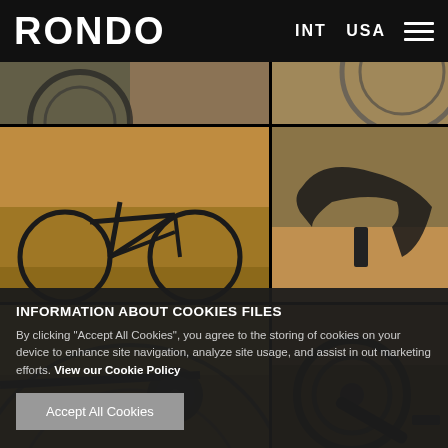RONDO | INT USA
[Figure (photo): Grid of 6 bicycle photos showing a dark gravel/road bike and its components (rear cassette, full bike side view, handlebar stem area, rear wheel/drivetrain, front chainring/crankset) in an autumn forest setting.]
INFORMATION ABOUT COOKIES FILES
By clicking "Accept All Cookies", you agree to the storing of cookies on your device to enhance site navigation, analyze site usage, and assist in out marketing efforts. View our Cookie Policy
Accept All Cookies